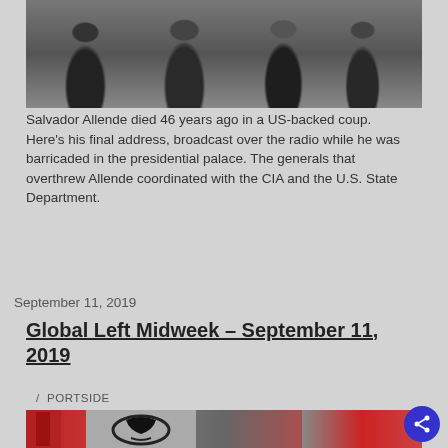[Figure (photo): Black and white photograph of men in suits, one holding a rifle, standing in front of a building]
Salvador Allende died 46 years ago in a US-backed coup. Here's his final address, broadcast over the radio while he was barricaded in the presidential palace. The generals that overthrew Allende coordinated with the CIA and the U.S. State Department.
September 11, 2019
Global Left Midweek – September 11, 2019
/ PORTSIDE
[Figure (photo): Color photograph showing red flags and a sign with a fist or emblem silhouette]